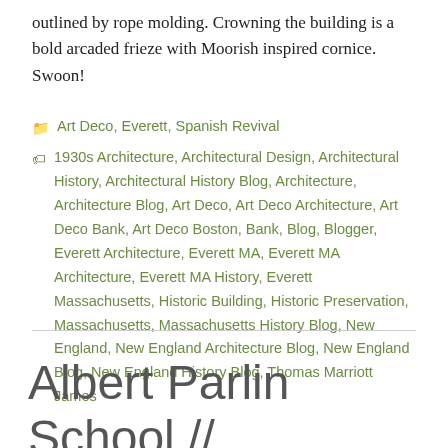outlined by rope molding. Crowning the building is a bold arcaded frieze with Moorish inspired cornice. Swoon!
Art Deco, Everett, Spanish Revival
1930s Architecture, Architectural Design, Architectural History, Architectural History Blog, Architecture, Architecture Blog, Art Deco, Art Deco Architecture, Art Deco Bank, Art Deco Boston, Bank, Blog, Blogger, Everett Architecture, Everett MA, Everett MA Architecture, Everett MA History, Everett Massachusetts, Historic Building, Historic Preservation, Massachusetts, Massachusetts History Blog, New England, New England Architecture Blog, New England Blog, New England History Blog, Thomas Marriott James
Albert Parlin School // 1931